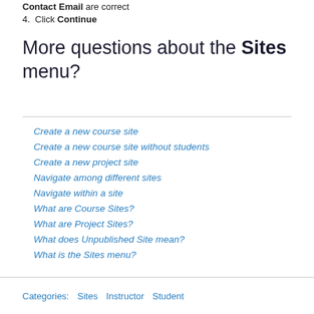Contact Email are correct
4. Click Continue
More questions about the Sites menu?
Create a new course site
Create a new course site without students
Create a new project site
Navigate among different sites
Navigate within a site
What are Course Sites?
What are Project Sites?
What does Unpublished Site mean?
What is the Sites menu?
Categories: Sites Instructor Student